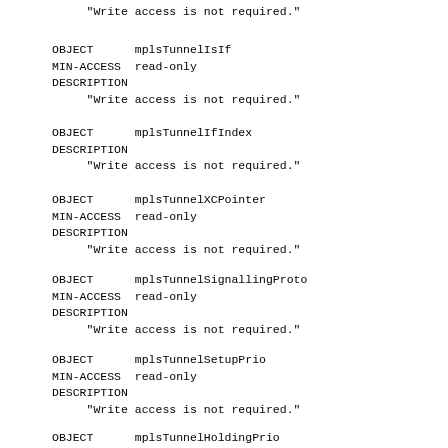"Write access is not required."
OBJECT      mplsTunnelIsIf
MIN-ACCESS  read-only
DESCRIPTION
     "Write access is not required."
OBJECT      mplsTunnelIfIndex
DESCRIPTION
     "Write access is not required."
OBJECT      mplsTunnelXCPointer
MIN-ACCESS  read-only
DESCRIPTION
     "Write access is not required."
OBJECT      mplsTunnelSignallingProto
MIN-ACCESS  read-only
DESCRIPTION
     "Write access is not required."
OBJECT      mplsTunnelSetupPrio
MIN-ACCESS  read-only
DESCRIPTION
     "Write access is not required."
OBJECT      mplsTunnelHoldingPrio
MIN-ACCESS  read-only
DESCRIPTION
     "Write access is not required."